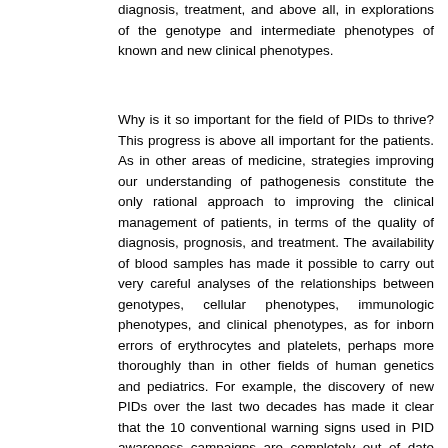diagnosis, treatment, and above all, in explorations of the genotype and intermediate phenotypes of known and new clinical phenotypes.
Why is it so important for the field of PIDs to thrive? This progress is above all important for the patients. As in other areas of medicine, strategies improving our understanding of pathogenesis constitute the only rational approach to improving the clinical management of patients, in terms of the quality of diagnosis, prognosis, and treatment. The availability of blood samples has made it possible to carry out very careful analyses of the relationships between genotypes, cellular phenotypes, immunologic phenotypes, and clinical phenotypes, as for inborn errors of erythrocytes and platelets, perhaps more thoroughly than in other fields of human genetics and pediatrics. For example, the discovery of new PIDs over the last two decades has made it clear that the 10 conventional warning signs used in PID awareness campaigns are completely out of date and require revision.80 Another clinical lesson learned in the last 50 years is that most PID-causing genes are associated with high levels of clinical heterogeneity. Remarkable examples include mutations in the NEMO gene, the effects of which range from death in utero to mild immunodeficiency in adults, reflecting the severity of the biochemical deficit caused by the morbid alleles,81 and mutations in RAG genes, the impact of which ranges from life-threatening